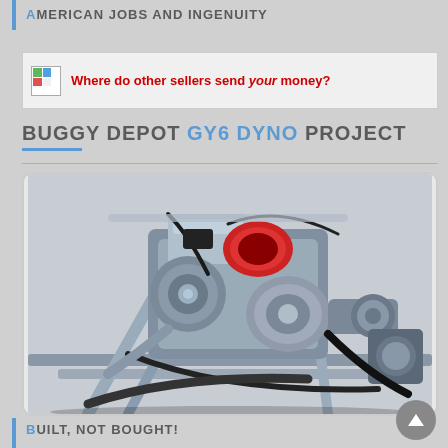AMERICAN JOBS AND INGENUITY
Where do other sellers send your money?
BUGGY DEPOT GY6 DYNO PROJECT
[Figure (photo): Close-up photo of a GY6 engine mounted in a dune buggy or go-kart frame, showing engine, belt drive, and chassis components on a dyno test stand]
BUILT, NOT BOUGHT!